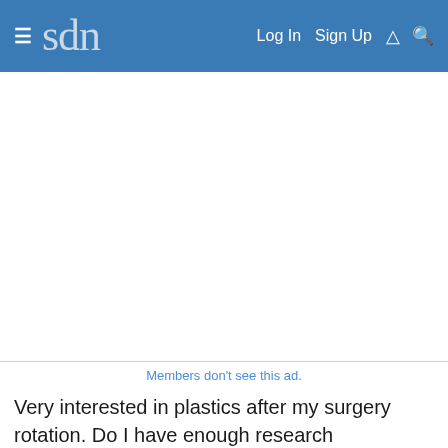sdn | Log In | Sign Up
[Figure (other): Advertisement area (blank white space)]
Members don't see this ad.
Very interested in plastics after my surgery rotation. Do I have enough research experience in plastics to show my commitment or should I take a research year? I have 2 research experiences in OBGYN, 6 in plastics, 6 in ENT, 1 in EM. Also am graduating